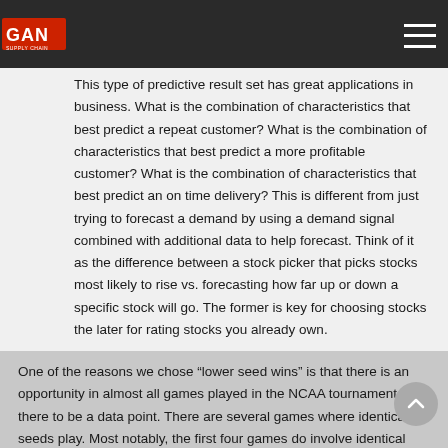GAN
This type of predictive result set has great applications in business. What is the combination of characteristics that best predict a repeat customer? What is the combination of characteristics that best predict a more profitable customer? What is the combination of characteristics that best predict an on time delivery? This is different from just trying to forecast a demand by using a demand signal combined with additional data to help forecast. Think of it as the difference between a stock picker that picks stocks most likely to rise vs. forecasting how far up or down a specific stock will go. The former is key for choosing stocks the later for rating stocks you already own.
One of the reasons we chose “lower seed wins” is that there is an opportunity in almost all games played in the NCAA tournament for there to be a data point. There are several games where identical seeds play. Most notably, the first four games do involve identical seeds and the final four can possibly have identical seeds. However, that still gives us